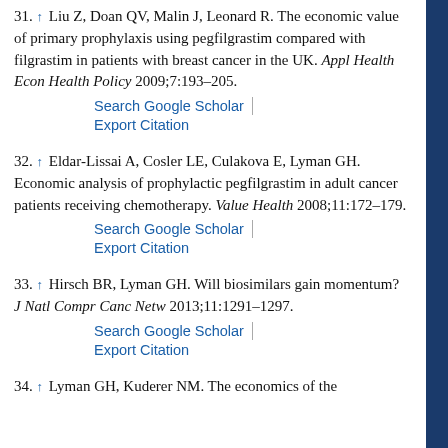31. ↑ Liu Z, Doan QV, Malin J, Leonard R. The economic value of primary prophylaxis using pegfilgrastim compared with filgrastim in patients with breast cancer in the UK. Appl Health Econ Health Policy 2009;7:193–205.
Search Google Scholar | Export Citation
32. ↑ Eldar-Lissai A, Cosler LE, Culakova E, Lyman GH. Economic analysis of prophylactic pegfilgrastim in adult cancer patients receiving chemotherapy. Value Health 2008;11:172–179.
Search Google Scholar | Export Citation
33. ↑ Hirsch BR, Lyman GH. Will biosimilars gain momentum? J Natl Compr Canc Netw 2013;11:1291–1297.
Search Google Scholar | Export Citation
34. ↑ Lyman GH, Kuderer NM. The economics of the...